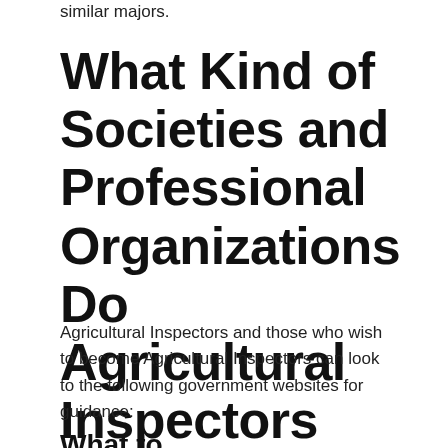similar majors.
What Kind of Societies and Professional Organizations Do Agricultural Inspectors Have?
Agricultural Inspectors and those who wish to become Agricultural Inspectors can look to the following government websites for guidance:
What to...